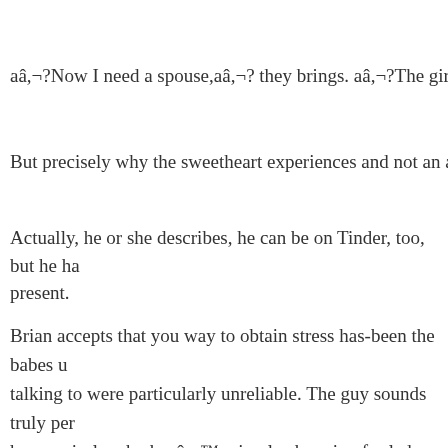aâ,¬?Now I need a spouse,aâ,¬? they brings. aâ,¬?The girl feel
But precisely why the sweetheart experiences and not an actual
Actually, he or she describes, he can be on Tinder, too, but he ha present.
Brian accepts that you way to obtain stress has-been the babes u talking to were particularly unreliable. The guy sounds truly per her precisely why heaâ,¬™s simply shopping for lady who is 3(
aâ,¬?precisely why would i wish to date a lady our get older?aâ
The man laughs as I check with him or her you will want to.
aâ,¬?It can feel way too major,aâ,¬? according to him.
Anything at all really serious, of course, seems to be the antith